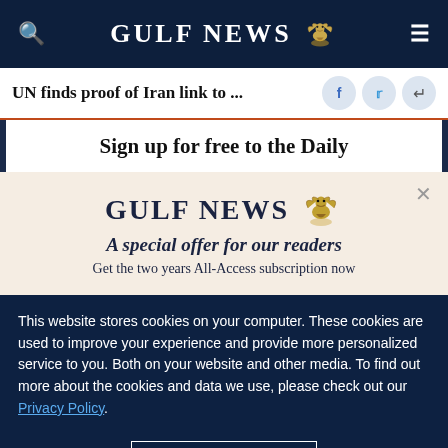GULF NEWS
UN finds proof of Iran link to ...
Sign up for free to the Daily
[Figure (logo): Gulf News logo with eagle emblem]
A special offer for our readers
Get the two years All-Access subscription now
This website stores cookies on your computer. These cookies are used to improve your experience and provide more personalized service to you. Both on your website and other media. To find out more about the cookies and data we use, please check out our Privacy Policy.
OK